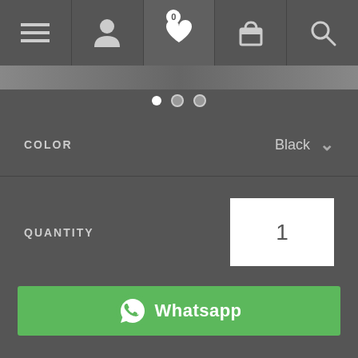[Figure (screenshot): E-commerce product page screenshot showing navigation bar with menu, profile, wishlist (0), cart, and search icons]
COLOR   Black
QUANTITY   1
Whatsapp
SOLD OUT
ADD TO WISHLIST
Brand Warranty as Applicable. Usually delivered in 2-8 Business days